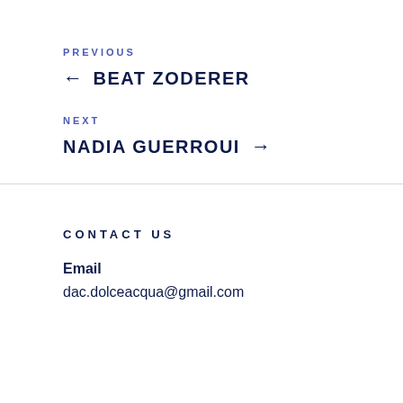PREVIOUS
← BEAT ZODERER
NEXT
NADIA GUERROUI →
CONTACT US
Email
dac.dolceacqua@gmail.com